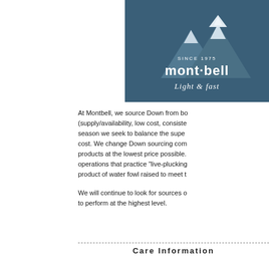[Figure (logo): mont-bell logo on dark teal/navy background with mountain illustration, text 'SINCE 1975', 'mont·bell', and 'Light & Fast' in script]
At Montbell, we source Down from both (supply/availability, low cost, consis... season we seek to balance the supe... cost. We change Down sourcing com... products at the lowest price possible... operations that practice "live-plucking... product of water fowl raised to meet t...
We will continue to look for sources o... to perform at the highest level.
Care Information